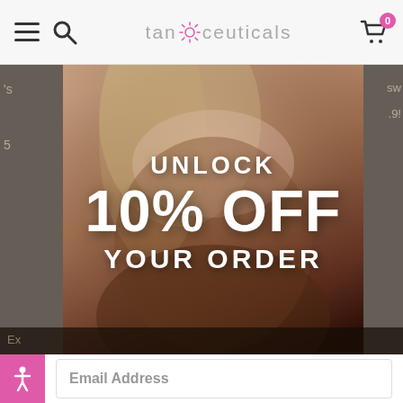tan*ceuticals — navigation header with hamburger menu, search icon, logo, and cart (0 items)
[Figure (photo): A tanned woman in a pink bodysuit sitting, with white promotional text overlay reading UNLOCK 10% OFF YOUR ORDER, shown as a modal/popup over a blurred website background]
UNLOCK
10% OFF
YOUR ORDER
Email Address